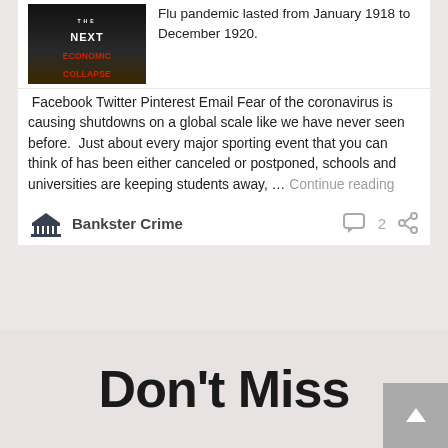[Figure (photo): Book/video cover with dark apocalyptic city background, text reading 'THE NEXT ECONOMIC COLLAPSE Is America Next?' in white and red letters with yellow subtitle]
Flu pandemic lasted from January 1918 to December 1920.
Facebook Twitter Pinterest Email Fear of the coronavirus is causing shutdowns on a global scale like we have never seen before.  Just about every major sporting event that you can think of has been either canceled or postponed, schools and universities are keeping students away, … Continue reading
Bankster Crime  2
Don't Miss